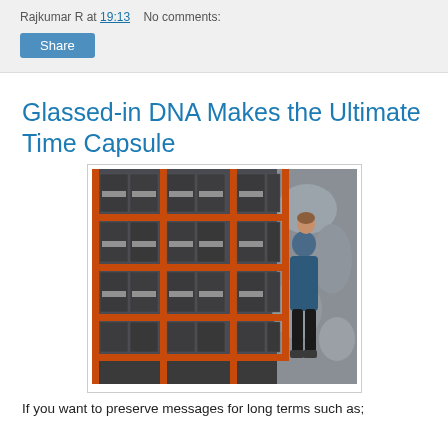Rajkumar R at 19:13   No comments:
Glassed-in DNA Makes the Ultimate Time Capsule
[Figure (photo): A person in a blue jacket looking up at tall shelving racks filled with dark storage boxes in a cold storage facility, with an icy wall visible on the right.]
If you want to preserve messages for long terms such as;